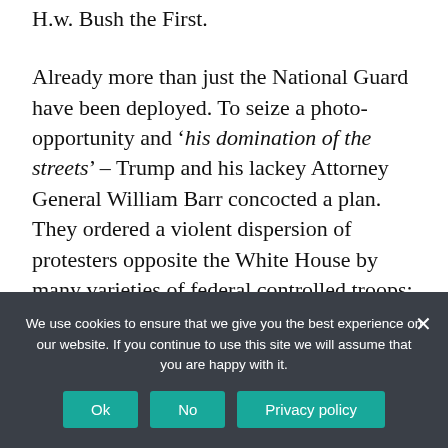H.w. Bush the First.
Already more than just the National Guard have been deployed. To seize a photo-opportunity and 'his domination of the streets' – Trump and his lackey Attorney General William Barr concocted a plan. They ordered a violent dispersion of protesters opposite the White House by many varieties of federal controlled troops:
“After a weekend of protests that led all the way to his own front yard and forced him to briefly retreat to a bunker beneath the White House, President Trump,
We use cookies to ensure that we give you the best experience on our website. If you continue to use this site we will assume that you are happy with it.